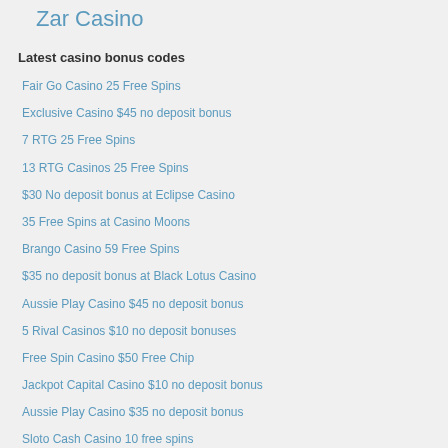Zar Casino
Latest casino bonus codes
Fair Go Casino 25 Free Spins
Exclusive Casino $45 no deposit bonus
7 RTG 25 Free Spins
13 RTG Casinos 25 Free Spins
$30 No deposit bonus at Eclipse Casino
35 Free Spins at Casino Moons
Brango Casino 59 Free Spins
$35 no deposit bonus at Black Lotus Casino
Aussie Play Casino $45 no deposit bonus
5 Rival Casinos $10 no deposit bonuses
Free Spin Casino $50 Free Chip
Jackpot Capital Casino $10 no deposit bonus
Aussie Play Casino $35 no deposit bonus
Sloto Cash Casino 10 free spins